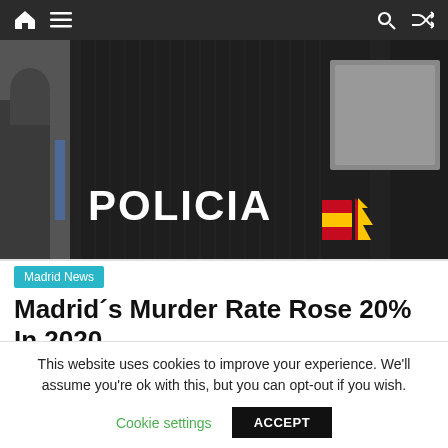Navigation bar with home, menu, search, and shuffle icons
[Figure (photo): Close-up photograph of the back of a Spanish police officer's jacket with 'POLICIA' text in white and the Spanish flag emblem in red and yellow.]
Madrid News
Madridʼs Murder Rate Rose 20% In 2020
January 1, 2021   madrid crime, madrid news, spain
This website uses cookies to improve your experience. We'll assume you're ok with this, but you can opt-out if you wish.
Cookie settings   ACCEPT